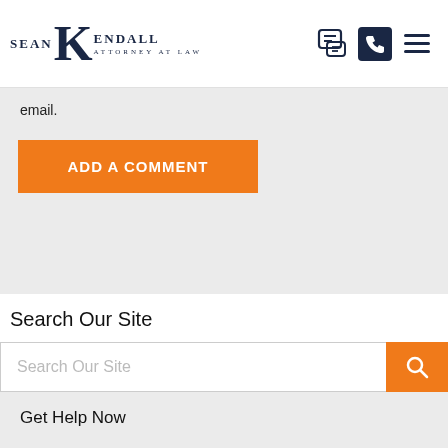SEAN KENDALL ATTORNEY AT LAW
email.
ADD A COMMENT
Search Our Site
Search Our Site
Get Help Now